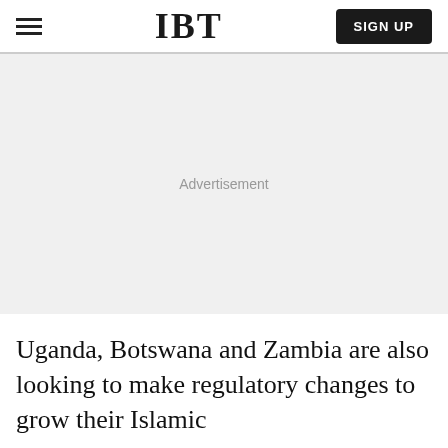IBT
[Figure (other): Advertisement placeholder area with light grey background]
Uganda, Botswana and Zambia are also looking to make regulatory changes to grow their Islamic